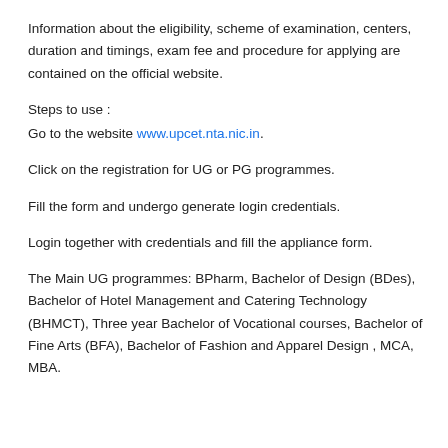Information about the eligibility, scheme of examination, centers, duration and timings, exam fee and procedure for applying are contained on the official website.
Steps to use :
Go to the website www.upcet.nta.nic.in.
Click on the registration for UG or PG programmes.
Fill the form and undergo generate login credentials.
Login together with credentials and fill the appliance form.
The Main UG programmes: BPharm, Bachelor of Design (BDes), Bachelor of Hotel Management and Catering Technology (BHMCT), Three year Bachelor of Vocational courses, Bachelor of Fine Arts (BFA), Bachelor of Fashion and Apparel Design , MCA, MBA.